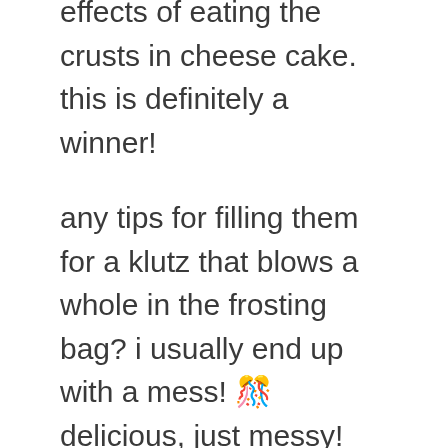effects of eating the crusts in cheese cake. this is definitely a winner!
any tips for filling them for a klutz that blows a whole in the frosting bag? i usually end up with a mess! 🎊 delicious, just messy!
:celebrate1: